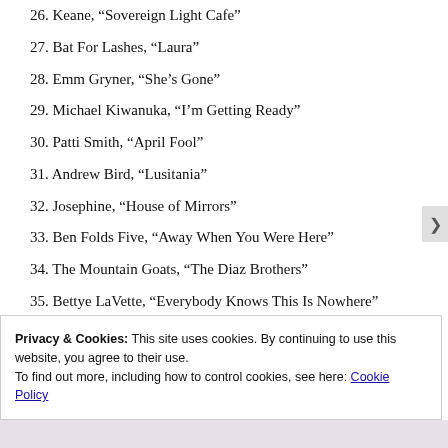26. Keane, “Sovereign Light Cafe”
27. Bat For Lashes, “Laura”
28. Emm Gryner, “She’s Gone”
29. Michael Kiwanuka, “I’m Getting Ready”
30. Patti Smith, “April Fool”
31. Andrew Bird, “Lusitania”
32. Josephine, “House of Mirrors”
33. Ben Folds Five, “Away When You Were Here”
34. The Mountain Goats, “The Diaz Brothers”
35. Bettye LaVette, “Everybody Knows This Is Nowhere”
Privacy & Cookies: This site uses cookies. By continuing to use this website, you agree to their use.
To find out more, including how to control cookies, see here: Cookie Policy
Close and accept